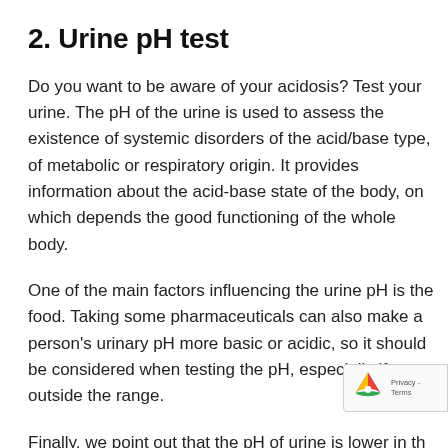2. Urine pH test
Do you want to be aware of your acidosis? Test your urine. The pH of the urine is used to assess the existence of systemic disorders of the acid/base type, of metabolic or respiratory origin. It provides information about the acid-base state of the body, on which depends the good functioning of the whole body.
One of the main factors influencing the urine pH is the food. Taking some pharmaceuticals can also make a person's urinary pH more basic or acidic, so it should be considered when testing the pH, especially if outside the range.
Finally, we point out that the pH of urine is lower in the morning than in the evening … an acid pH can disturb acid-base balance of the body, promoting the loss of